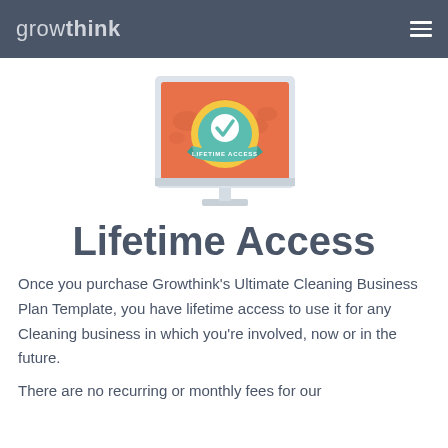growthink
[Figure (illustration): A desktop computer monitor displaying an orange screen with a circular badge/seal that reads 'LIFETIME ACCESS' with a checkmark, surrounded by a ribbon design. The monitor is shown in a flat design style.]
Lifetime Access
Once you purchase Growthink’s Ultimate Cleaning Business Plan Template, you have lifetime access to use it for any Cleaning business in which you’re involved, now or in the future.
There are no recurring or monthly fees for our